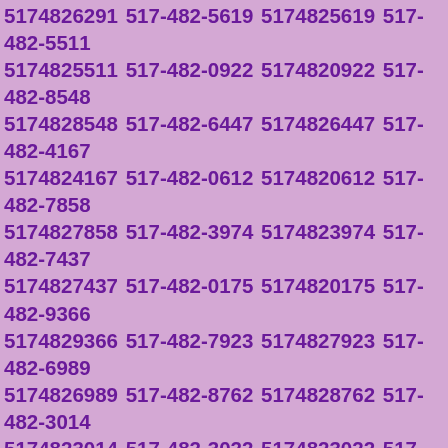5174826291 517-482-5619 5174825619 517-482-5511 5174825511 517-482-0922 5174820922 517-482-8548 5174828548 517-482-6447 5174826447 517-482-4167 5174824167 517-482-0612 5174820612 517-482-7858 5174827858 517-482-3974 5174823974 517-482-7437 5174827437 517-482-0175 5174820175 517-482-9366 5174829366 517-482-7923 5174827923 517-482-6989 5174826989 517-482-8762 5174828762 517-482-3014 5174823014 517-482-3022 5174823022 517-482-1574 5174821574 517-482-2757 5174822757 517-482-4382 5174824382 517-482-9841 5174829841 517-482-9915 5174829915 517-482-5454 5174825454 517-482-6341 5174826341 517-482-4595 5174824595 517-482-7119 5174827119 517-482-1967 5174821967 517-482-5168 5174825168 517-482-0725 5174820725 517-482-4672 5174824672 517-482-1549 5174821549 517-482-2807 5174822807 517-482-9277 5174829277 517-482-6666 5174826666 517-482-1823 5174821823 517-482-3616 5174823616 517-482-4310 5174824310 517-482-3736 5174823736 517-482-9615 5174829615 517-482-9624 5174829624 517-482-1671 5174821671 517-482-1851